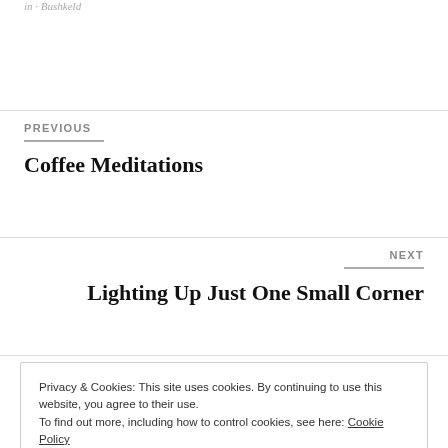in · Bushkeld
PREVIOUS
Coffee Meditations
NEXT
Lighting Up Just One Small Corner
Privacy & Cookies: This site uses cookies. By continuing to use this website, you agree to their use. To find out more, including how to control cookies, see here: Cookie Policy
Close and accept